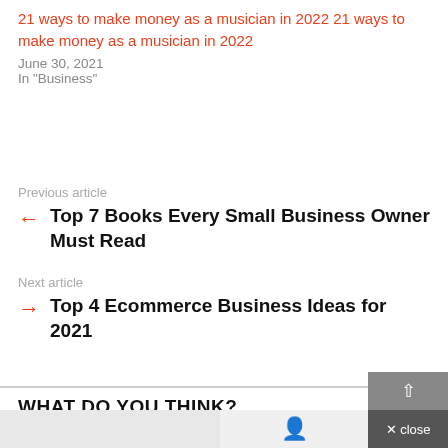21 ways to make money as a musician in 2022 21 ways to make money as a musician in 2022
June 30, 2021
In "Business"
Previous article
Top 7 Books Every Small Business Owner Must Read
Next article
Top 4 Ecommerce Business Ideas for 2021
WHAT DO YOU THINK?